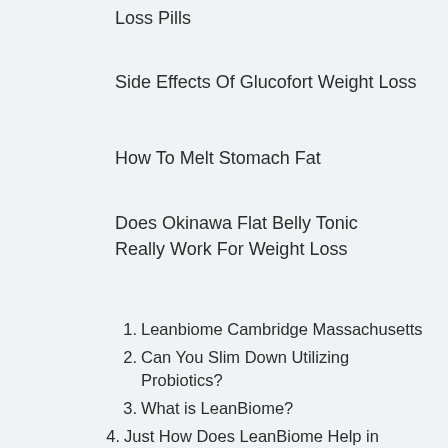Loss Pills
Side Effects Of Glucofort Weight Loss
How To Melt Stomach Fat
Does Okinawa Flat Belly Tonic Really Work For Weight Loss
Leanbiome Cambridge Massachusetts
Can You Slim Down Utilizing Probiotics?
What is LeanBiome?
Just How Does LeanBiome Help in Weight Management?
What is Inside the LeanBiome Formula?
Where to Purchase LeanBiome? Is it